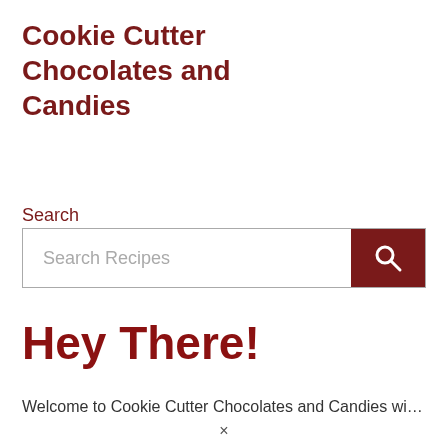Cookie Cutter Chocolates and Candies
Search
[Figure (screenshot): Search bar with placeholder text 'Search Recipes' and a dark red search button with magnifying glass icon]
Hey There!
Welcome to Cookie Cutter Chocolates and Candies will...